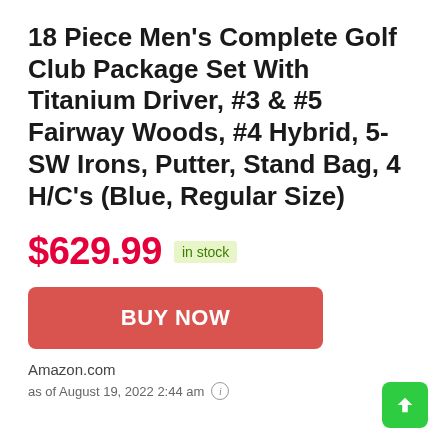18 Piece Men's Complete Golf Club Package Set With Titanium Driver, #3 & #5 Fairway Woods, #4 Hybrid, 5-SW Irons, Putter, Stand Bag, 4 H/C's (Blue, Regular Size)
$629.99  in stock
BUY NOW
Amazon.com
as of August 19, 2022 2:44 am